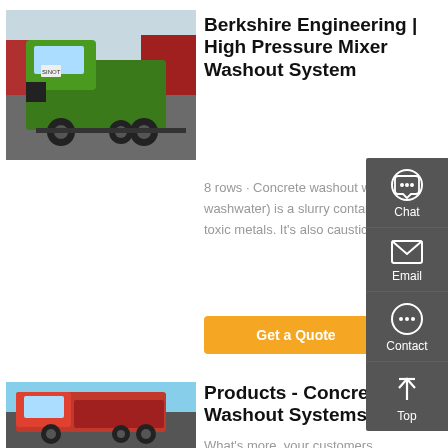[Figure (photo): Green SINOTRUK concrete mixer/dump truck parked in yard with other red trucks in background]
Berkshire Engineering | High Pressure Mixer Washout System
8 rows · Concrete washout water (or washwater) is a slurry containing toxic metals. It's also caustic and
Get a Quote
[Figure (photo): Red SINOTRUK dump truck parked outdoors]
Products - Concrete Washout Systems
What's more, your customers